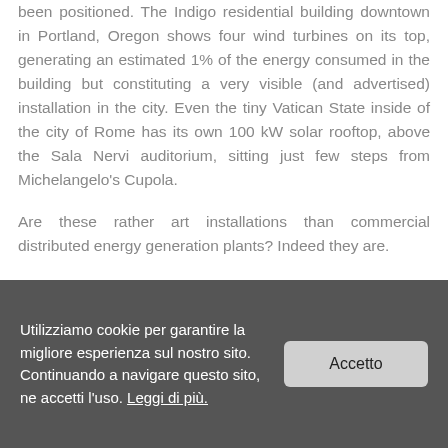been positioned. The Indigo residential building downtown in Portland, Oregon shows four wind turbines on its top, generating an estimated 1% of the energy consumed in the building but constituting a very visible (and advertised) installation in the city. Even the tiny Vatican State inside of the city of Rome has its own 100 kW solar rooftop, above the Sala Nervi auditorium, sitting just few steps from Michelangelo's Cupola.
Are these rather art installations than commercial distributed energy generation plants? Indeed they are.
Yet, half a million rooftops installed over private single home residences in Germany and three hundred
Utilizziamo cookie per garantire la migliore esperienza sul nostro sito. Continuando a navigare questo sito, ne accetti l'uso. Leggi di più.